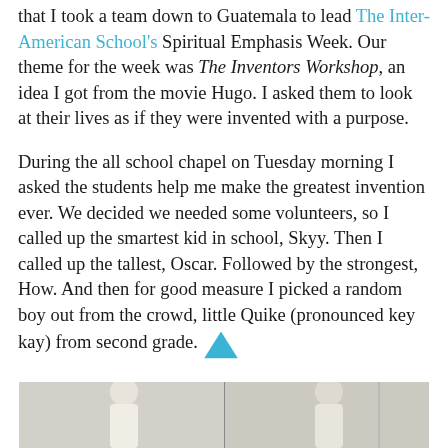that I took a team down to Guatemala to lead The Inter-American School's Spiritual Emphasis Week. Our theme for the week was The Inventors Workshop, an idea I got from the movie Hugo. I asked them to look at their lives as if they were invented with a purpose.
During the all school chapel on Tuesday morning I asked the students help me make the greatest invention ever. We decided we needed some volunteers, so I called up the smartest kid in school, Skyy. Then I called up the tallest, Oscar. Followed by the strongest, How. And then for good measure I picked a random boy out from the crowd, little Quike (pronounced key kay) from second grade.
[Figure (photo): Bottom portion of a photo showing people, partially visible at the bottom of the page]